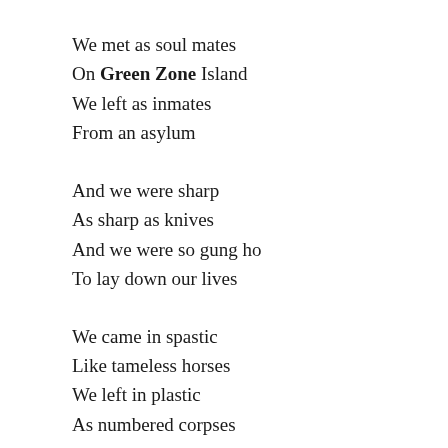We met as soul mates
On Green Zone Island
We left as inmates
From an asylum
And we were sharp
As sharp as knives
And we were so gung ho
To lay down our lives
We came in spastic
Like tameless horses
We left in plastic
As numbered corpses